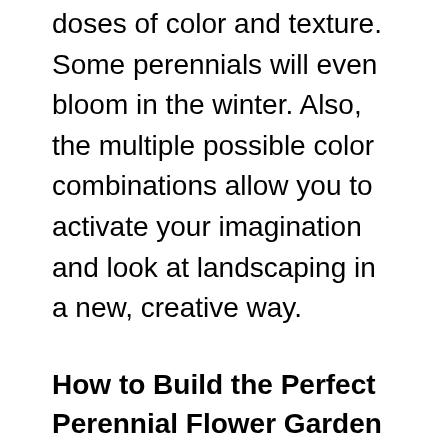doses of color and texture. Some perennials will even bloom in the winter. Also, the multiple possible color combinations allow you to activate your imagination and look at landscaping in a new, creative way.
How to Build the Perfect Perennial Flower Garden
The best piece of advice I can give when designing your new garden is to start small. The best way to display your